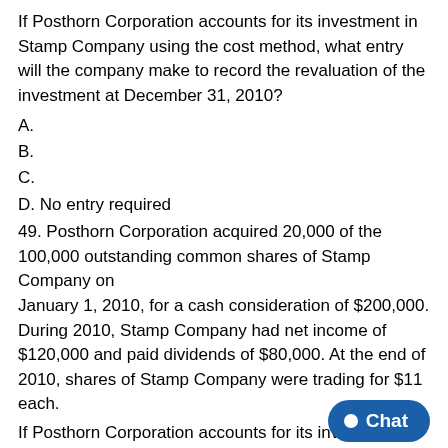If Posthorn Corporation accounts for its investment in Stamp Company using the cost method, what entry will the company make to record the revaluation of the investment at December 31, 2010?
A.
B.
C.
D. No entry required
49. Posthorn Corporation acquired 20,000 of the 100,000 outstanding common shares of Stamp Company on January 1, 2010, for a cash consideration of $200,000. During 2010, Stamp Company had net income of $120,000 and paid dividends of $80,000. At the end of 2010, shares of Stamp Company were trading for $11 each.
If Posthorn Corporation accounts for its investment in